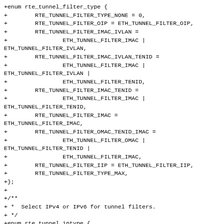+enum rte_tunnel_filter_type {
+        RTE_TUNNEL_FILTER_TYPE_NONE = 0,
+        RTE_TUNNEL_FILTER_OIP = ETH_TUNNEL_FILTER_OIP,
+        RTE_TUNNEL_FILTER_IMAC_IVLAN =
+                ETH_TUNNEL_FILTER_IMAC |
ETH_TUNNEL_FILTER_IVLAN,
+        RTE_TUNNEL_FILTER_IMAC_IVLAN_TENID =
+                ETH_TUNNEL_FILTER_IMAC |
ETH_TUNNEL_FILTER_IVLAN |
+                ETH_TUNNEL_FILTER_TENID,
+        RTE_TUNNEL_FILTER_IMAC_TENID =
+                ETH_TUNNEL_FILTER_IMAC |
ETH_TUNNEL_FILTER_TENID,
+        RTE_TUNNEL_FILTER_IMAC =
ETH_TUNNEL_FILTER_IMAC,
+        RTE_TUNNEL_FILTER_OMAC_TENID_IMAC =
+                ETH_TUNNEL_FILTER_OMAC |
ETH_TUNNEL_FILTER_TENID |
+                ETH_TUNNEL_FILTER_IMAC,
+        RTE_TUNNEL_FILTER_IIP = ETH_TUNNEL_FILTER_IIP,
+        RTE_TUNNEL_FILTER_TYPE_MAX,
+};
+
+/**
+ *  Select IPv4 or IPv6 for tunnel filters.
+ */
+enum rte_tunnel_iptype {
+        RTE_TUNNEL_IPTYPE_IPV4 = 0, /**< IPv4. */
+        RTE_TUNNEL_IPTYPE_IPV6,       /**< IPv6. */
+};